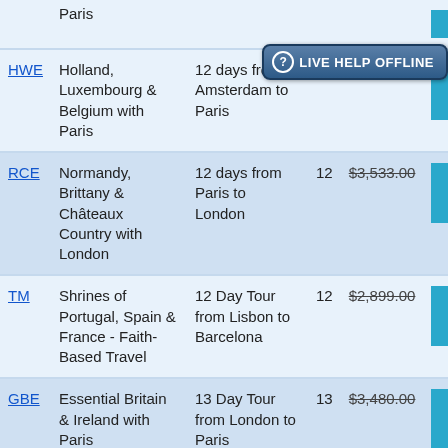| Code | Tour Name | Description | Days | Price |  |
| --- | --- | --- | --- | --- | --- |
| HWE | Holland, Luxembourg & Belgium with Paris | 12 days from Amsterdam to Paris | 12 | — |  |
| RCE | Normandy, Brittany & Châteaux Country with London | 12 days from Paris to London | 12 | $3,533.00 |  |
| TM | Shrines of Portugal, Spain & France - Faith-Based Travel | 12 Day Tour from Lisbon to Barcelona | 12 | $2,899.00 |  |
| GBE | Essential Britain & Ireland with Paris | 13 Day Tour from London to Paris | 13 | $3,480.00 |  |